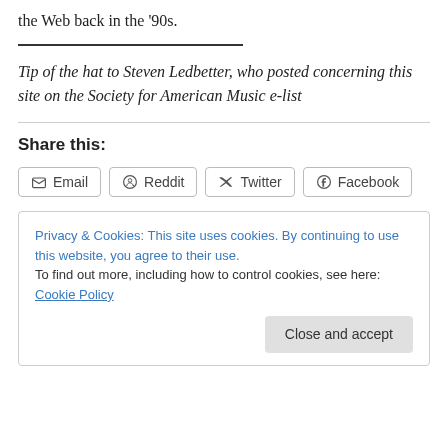the Web back in the ‘90s.
Tip of the hat to Steven Ledbetter, who posted concerning this site on the Society for American Music e-list
Share this:
Email  Reddit  Twitter  Facebook
Privacy & Cookies: This site uses cookies. By continuing to use this website, you agree to their use.
To find out more, including how to control cookies, see here: Cookie Policy